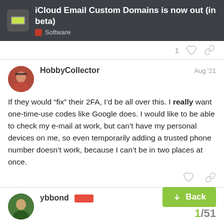iCloud Email Custom Domains is now out (in beta) — Software
1
HobbyCollector — Aug '21
If they would "fix" their 2FA, I'd be all over this. I really want one-time-use codes like Google does. I would like to be able to check my e-mail at work, but can't have my personal devices on me, so even temporarily adding a trusted phone number doesn't work, because I can't be in two places at once.
ybbond — Aug '21
Really excited about it! Unfortunately it doe... less than 3 characters like hi@domain.t...